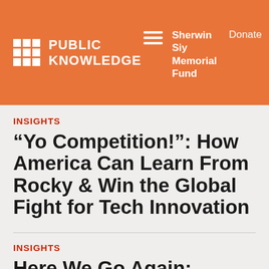PUBLIC KNOWLEDGE  Sherwin Siy Memorial Fund  Donate
INSIGHTS
“Yo Competition!”: How America Can Learn From Rocky & Win the Global Fight for Tech Innovation
INSIGHTS
Here We Go Again: Another Round of Changes Haven’t